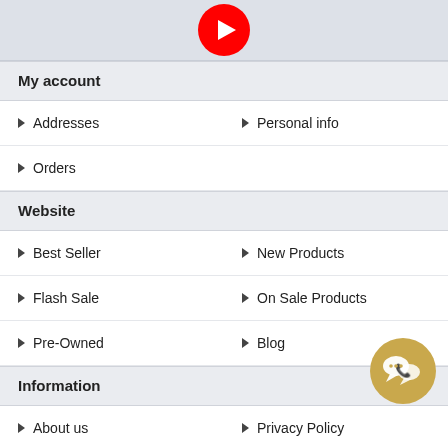[Figure (logo): YouTube play button icon (red circle with white triangle) on light gray background]
My account
Addresses
Personal info
Orders
Website
Best Seller
New Products
Flash Sale
On Sale Products
Pre-Owned
Blog
Information
About us
Privacy Policy
[Figure (illustration): Gold circular chat/contact icon with speech bubbles and phone symbol]